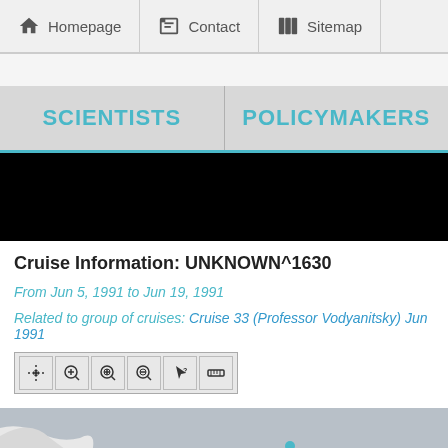Homepage | Contact | Sitemap
SCIENTISTS | POLICYMAKERS
[Figure (screenshot): Black banner image area (navigation/map header)]
Cruise Information: UNKNOWN^1630
From Jun 5, 1991 to Jun 19, 1991
Related to group of cruises: Cruise 33 (Professor Vodyanitsky) Jun 1991
[Figure (screenshot): Map toolbar with pan, zoom in, zoom out, zoom reset, identify, and measure tools]
[Figure (map): Partial map view showing coastline and ocean, with a cyan marker dot]